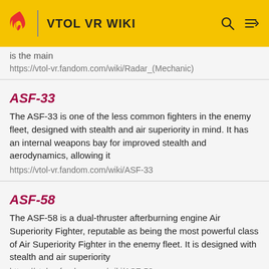VTOL VR WIKI
is the main
https://vtol-vr.fandom.com/wiki/Radar_(Mechanic)
ASF-33
The ASF-33 is one of the less common fighters in the enemy fleet, designed with stealth and air superiority in mind. It has an internal weapons bay for improved stealth and aerodynamics, allowing it
https://vtol-vr.fandom.com/wiki/ASF-33
ASF-58
The ASF-58 is a dual-thruster afterburning engine Air Superiority Fighter, reputable as being the most powerful class of Air Superiority Fighter in the enemy fleet. It is designed with stealth and air superiority
https://vtol-vr.fandom.com/wiki/ASF-58